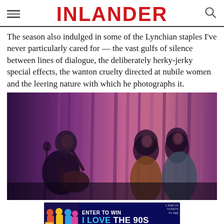INLANDER
The season also indulged in some of the Lynchian staples I've never particularly cared for — the vast gulfs of silence between lines of dialogue, the deliberately herky-jerky special effects, the wanton cruelty directed at nubile women and the leering nature with which he photographs it.
[Figure (photo): Scene from Twin Peaks: The Return showing a bald man playing acoustic guitar on the left, and two young women standing together on the right, against a purple/pink curtained backdrop.]
[Figure (infographic): Advertisement banner: 'ENTER TO WIN 1 PAIR OF TICKETS TO SEE I LOVE THE 90s' with colorful group photo on the left, AUG 31ST date badge, and Q logo on the right.]